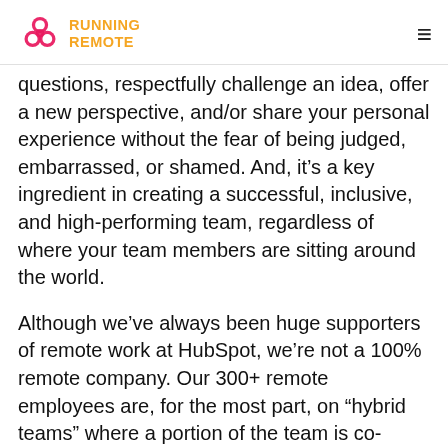RUNNING REMOTE
questions, respectfully challenge an idea, offer a new perspective, and/or share your personal experience without the fear of being judged, embarrassed, or shamed. And, it’s a key ingredient in creating a successful, inclusive, and high-performing team, regardless of where your team members are sitting around the world.
Although we’ve always been huge supporters of remote work at HubSpot, we’re not a 100% remote company. Our 300+ remote employees are, for the most part, on “hybrid teams” where a portion of the team is co-located in an office and one or more employees are working remotely from another location. Continue...